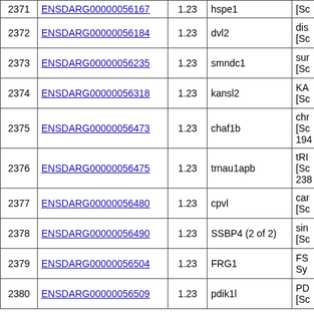| # | Ensembl ID | Value | Gene | Description |
| --- | --- | --- | --- | --- |
| 2371 | ENSDARG00000056167 | 1.23 | hspe1 | [Sc... |
| 2372 | ENSDARG00000056184 | 1.23 | dvl2 | dis [Sc... |
| 2373 | ENSDARG00000056235 | 1.23 | smndc1 | sur [Sc... |
| 2374 | ENSDARG00000056318 | 1.23 | kansl2 | KA [Sc... |
| 2375 | ENSDARG00000056473 | 1.23 | chaf1b | chr [Sc... 194... |
| 2376 | ENSDARG00000056475 | 1.23 | trnau1apb | tRI [Sc... 238... |
| 2377 | ENSDARG00000056480 | 1.23 | cpvl | car [Sc... |
| 2378 | ENSDARG00000056490 | 1.23 | SSBP4 (2 of 2) | sin [Sc... |
| 2379 | ENSDARG00000056504 | 1.23 | FRG1 | FS... Sy... |
| 2380 | ENSDARG00000056509 | 1.23 | pdik1l | PD [Sc... |